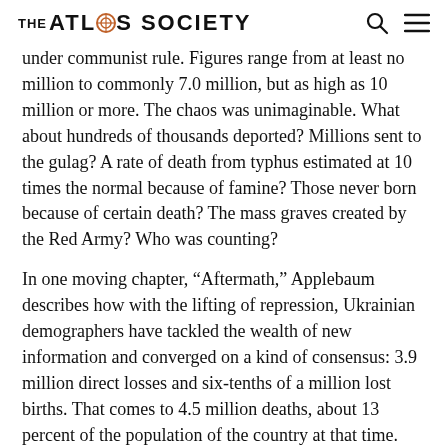THE ATLAS SOCIETY
under communist rule. Figures range from at least no million to commonly 7.0 million, but as high as 10 million or more. The chaos was unimaginable. What about hundreds of thousands deported? Millions sent to the gulag? A rate of death from typhus estimated at 10 times the normal because of famine? Those never born because of certain death? The mass graves created by the Red Army? Who was counting?
In one moving chapter, “Aftermath,” Applebaum describes how with the lifting of repression, Ukrainian demographers have tackled the wealth of new information and converged on a kind of consensus: 3.9 million direct losses and six-tenths of a million lost births. That comes to 4.5 million deaths, about 13 percent of the population of the country at that time. That would bring it to 10 million deaths, of the kind...